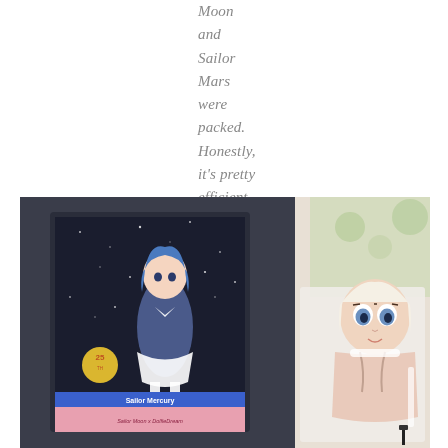Moon and Sailor Mars were packed. Honestly, it's pretty efficient.
[Figure (photo): A Sailor Mercury doll in packaging. On the left is a Sailor Moon x Dollfie Dream product card showing 'Sailor Mercury' character art. On the right is a pale-skinned anime-style doll with large blue eyes and light hair, partially in plastic wrapping inside a box.]